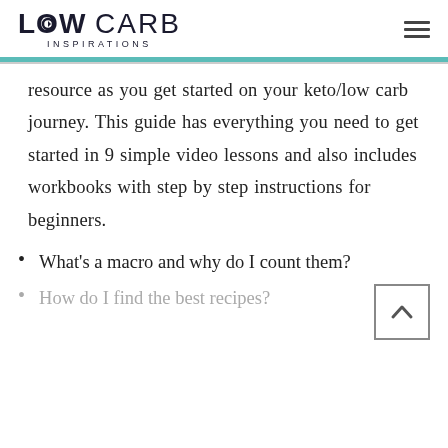LOW CARB INSPIRATIONS
resource as you get started on your keto/low carb journey. This guide has everything you need to get started in 9 simple video lessons and also includes workbooks with step by step instructions for beginners.
What’s a macro and why do I count them?
How do I find the best recipes?